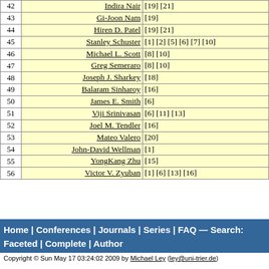| # | Name | References |
| --- | --- | --- |
| 42 | Indira Nair | [19] [21] |
| 43 | Gi-Joon Nam | [19] |
| 44 | Hiren D. Patel | [19] [21] |
| 45 | Stanley Schuster | [1] [2] [5] [6] [7] [10] |
| 46 | Michael L. Scott | [8] [10] |
| 47 | Greg Semeraro | [8] [10] |
| 48 | Joseph J. Sharkey | [18] |
| 49 | Balaram Sinharoy | [16] |
| 50 | James E. Smith | [6] |
| 51 | Viji Srinivasan | [6] [11] [13] |
| 52 | Joel M. Tendler | [16] |
| 53 | Mateo Valero | [20] |
| 54 | John-David Wellman | [1] |
| 55 | YongKang Zhu | [15] |
| 56 | Victor V. Zyuban | [1] [6] [13] [16] |
Home | Conferences | Journals | Series | FAQ — Search: Faceted | Complete | Author
Copyright © Sun May 17 03:24:02 2009 by Michael Ley (ley@uni-trier.de)